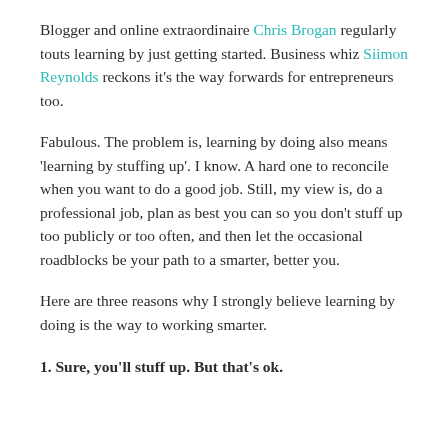Blogger and online extraordinaire Chris Brogan regularly touts learning by just getting started. Business whiz Siimon Reynolds reckons it's the way forwards for entrepreneurs too.
Fabulous. The problem is, learning by doing also means 'learning by stuffing up'.  I know.  A hard one to reconcile when you want to do a good job. Still, my view is, do a professional job, plan as best you can so you don't stuff up too publicly or too often, and then let the occasional roadblocks be your path to a smarter, better you.
Here are three reasons why I strongly believe learning by doing is the way to working smarter.
1. Sure, you'll stuff up. But that's ok.